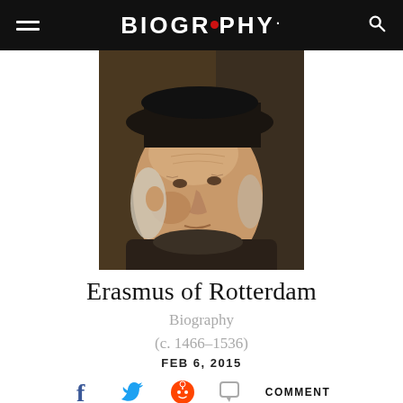BIOGRAPHY
[Figure (photo): Classical painted portrait of Erasmus of Rotterdam, an elderly man wearing a black hat and dark robes, shown in three-quarter profile against a dark background, in the style of a Renaissance oil painting.]
Erasmus of Rotterdam
Biography
(c. 1466–1536)
FEB 6, 2015
COMMENT